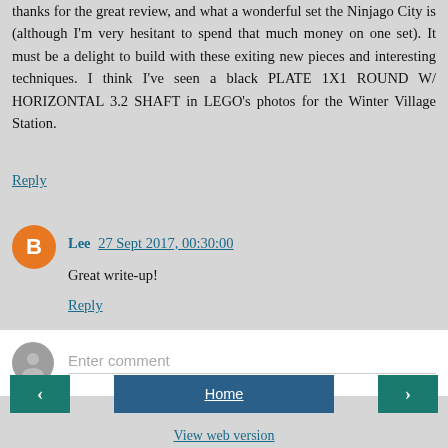thanks for the great review, and what a wonderful set the Ninjago City is (although I'm very hesitant to spend that much money on one set). It must be a delight to build with these exiting new pieces and interesting techniques. I think I've seen a black PLATE 1X1 ROUND W/ HORIZONTAL 3.2 SHAFT in LEGO's photos for the Winter Village Station.
Reply
Lee  27 Sept 2017, 00:30:00
Great write-up!
Reply
Enter comment
‹
Home
›
View web version